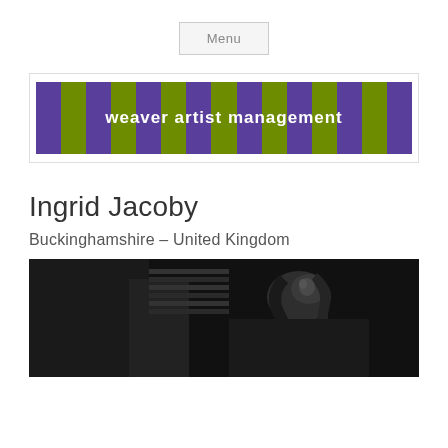Menu
[Figure (logo): Weaver Artist Management logo with alternating purple and olive green vertical stripes and white bold text reading 'weaver artist management']
Ingrid Jacoby
Buckinghamshire – United Kingdom
[Figure (photo): Black and white photograph of a woman near a piano, looking upward with flowing hair, dramatically lit]